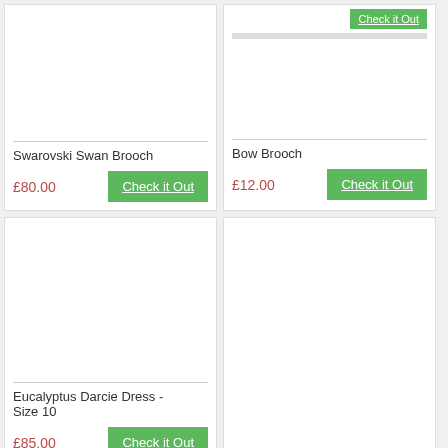Swarovski Swan Brooch
£80.00
Check it Out
Bow Brooch
£12.00
Check it Out
Eucalyptus Darcie Dress - Size 10
£85.00
Check it Out